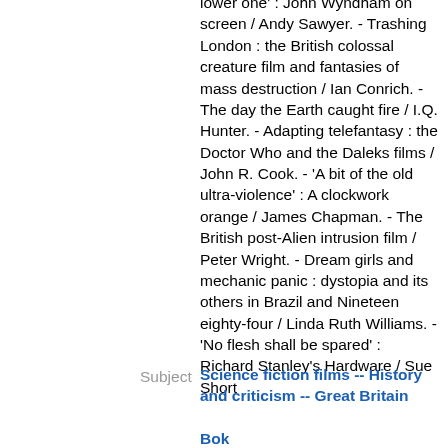lower one' : John Wyndham on screen / Andy Sawyer. - Trashing London : the British colossal creature film and fantasies of mass destruction / Ian Conrich. - The day the Earth caught fire / I.Q. Hunter. - Adapting telefantasy : the Doctor Who and the Daleks films / John R. Cook. - 'A bit of the old ultra-violence' : A clockwork orange / James Chapman. - The British post-Alien intrusion film / Peter Wright. - Dream girls and mechanic panic : dystopia and its others in Brazil and Nineteen eighty-four / Linda Ruth Williams. - 'No flesh shall be spared' : Richard Stanley's Hardware / Sue Short
Subject
Science fiction films -- History and criticism -- Great Britain
Bok
Science fiction film...